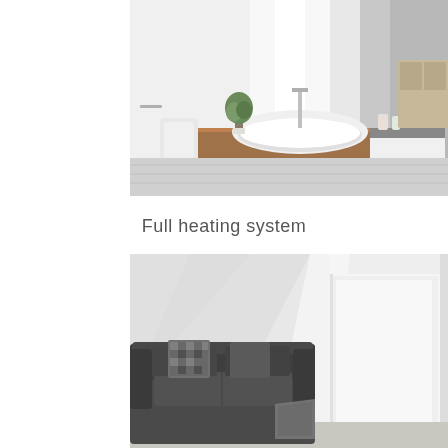[Figure (photo): Modern bathroom interior with freestanding white oval bathtub on wooden platform, large window, plants, and dual vanity with mirror]
Full heating system
[Figure (photo): Living room interior with dark grey upholstered sofa, grey cushions, and a large white flat panel radiator or heating panel on the wall, with natural light casting shadows]